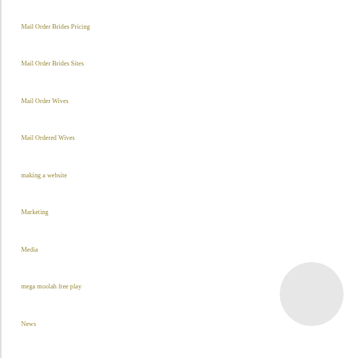Mail Order Brides Pricing
Mail Order Brides Sites
Mail Order Wives
Mail Ordered Wives
making a website
Marketing
Media
mega moolah free play
News
nlp automating